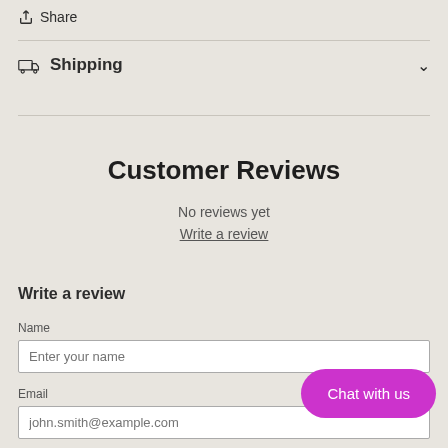Share
Shipping
Customer Reviews
No reviews yet
Write a review
Write a review
Name
Enter your name
Email
john.smith@example.com
Chat with us